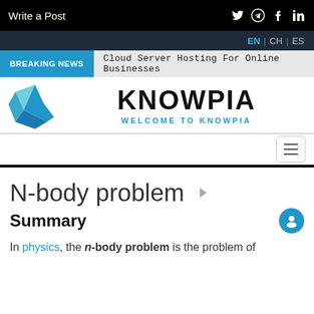Write a Post
EN | CH | ES
BREAKING NEWS  Cloud Server Hosting For Online Businesses
[Figure (logo): Knowpia logo: blue angular chevron/book shape on left, KNOWPIA text in large bold black font with WELCOME TO KNOWPIA in blue below]
N-body problem
Summary
In physics, the n-body problem is the problem of